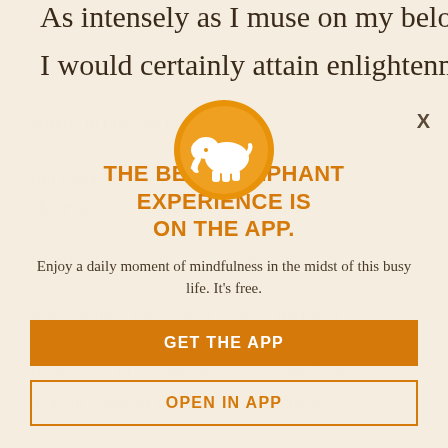As intensely as I muse on my beloved
I would certainly attain enlightenment
Surely, in this one lifetime... But I would be wrong to use these observations and use them as an excuse to failure, that's a cop-out terms of the hard work of being a Buddhist practitioner. The tradition expects me to show up in all circumstances and learn from it, at all scales of time and circumstances,
[Figure (logo): Orange circle with white elephant icon]
THE BEST ELEPHANT EXPERIENCE IS ON THE APP.
Enjoy a daily moment of mindfulness in the midst of this busy life. It's free.
GET THE APP
OPEN IN APP